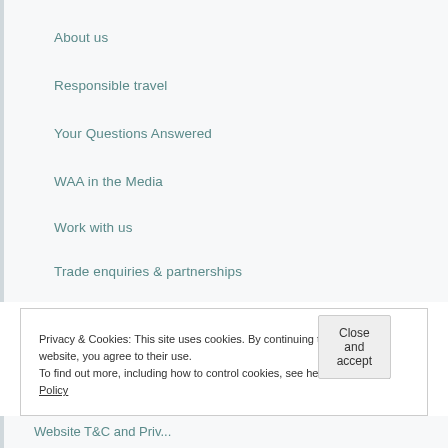About us
Responsible travel
Your Questions Answered
WAA in the Media
Work with us
Trade enquiries & partnerships
Privacy & Cookies: This site uses cookies. By continuing to use this website, you agree to their use.
To find out more, including how to control cookies, see here: Our Cookie Policy
Close and accept
Website T&C and Privacy...